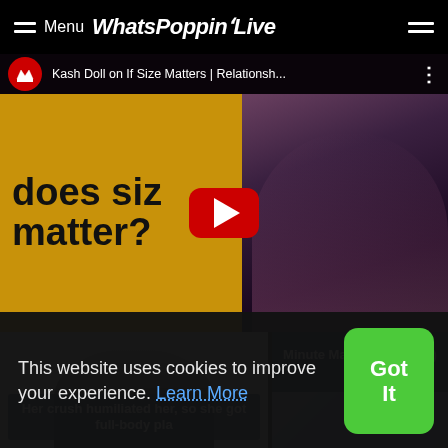≡ Menu WhatsPoppinLive
[Figure (screenshot): YouTube video thumbnail for 'Kash Doll on If Size Matters | Relationsh...' showing text 'does size matter?' on yellow background with a woman in pink on the right and a red play button in the center.]
Her crush humiliated her, so she got full-body pla
Minute Man (ft. Ludacris) [Off
This website uses cookies to improve your experience. Learn More
Got It